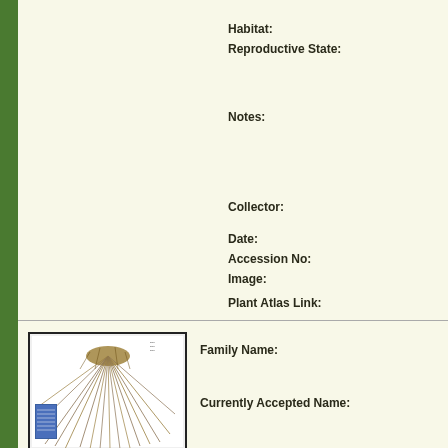Habitat:
Reproductive State:
Notes:
Collector:
Date:
Accession No:
Image:
Plant Atlas Link:
[Figure (photo): Herbarium specimen photo showing a dried grass plant with long thin stems and root mass, mounted on white paper with a blue label]
Family Name:
Currently Accepted Name: